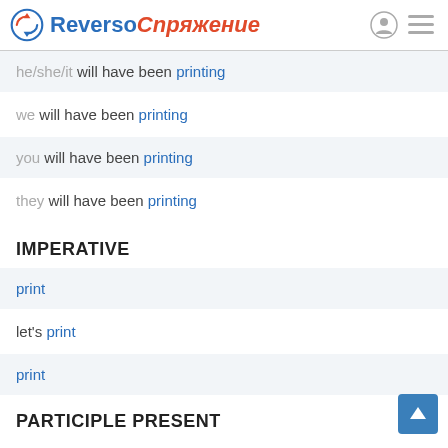Reverso Спряжение
he/she/it will have been printing
we will have been printing
you will have been printing
they will have been printing
IMPERATIVE
print
let's print
print
PARTICIPLE PRESENT